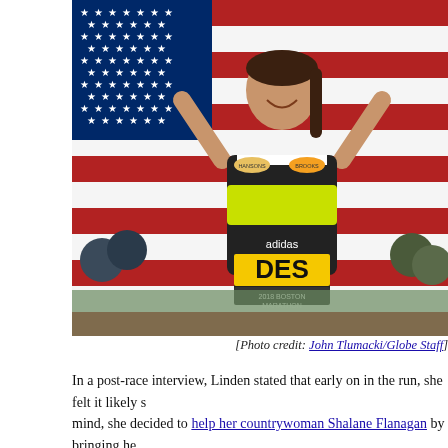[Figure (photo): A female marathon runner (Des Linden) holding up a large American flag, smiling, wearing a Brooks/Hansons running jersey and an adidas Boston Marathon bib labeled 'DES' (2018 Boston Marathon). Crowd and spectators visible in background.]
[Photo credit: John Tlumacki/Globe Staff]
In a post-race interview, Linden stated that early on in the run, she felt it likely she would not win. With that mind, she decided to help her countrywoman Shalane Flanagan by bringing her back into the race after Flanagan took a brief restroom break. That act of sportsmanship got Linden back into the race as well, and she eventually took over the race lead around mile 22. From that point on, she liter...